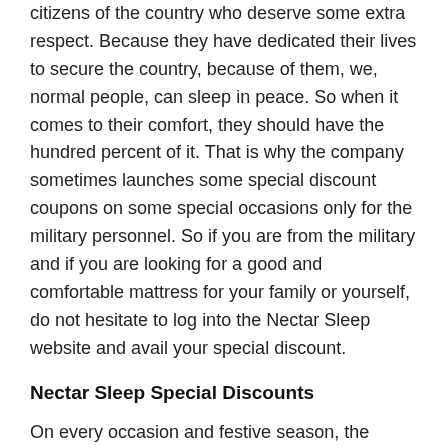citizens of the country who deserve some extra respect. Because they have dedicated their lives to secure the country, because of them, we, normal people, can sleep in peace. So when it comes to their comfort, they should have the hundred percent of it. That is why the company sometimes launches some special discount coupons on some special occasions only for the military personnel. So if you are from the military and if you are looking for a good and comfortable mattress for your family or yourself, do not hesitate to log into the Nectar Sleep website and avail your special discount.
Nectar Sleep Special Discounts
On every occasion and festive season, the company offers special holiday sales for the customers. These offers are completely different from normal offers. In this case, the amount of benefits that you will get is much higher than the everyday shopping. By purchasing a mattress, you can get accessories worth 399 dollars for free. In this offer, the accessories which you will get are a mattress protector